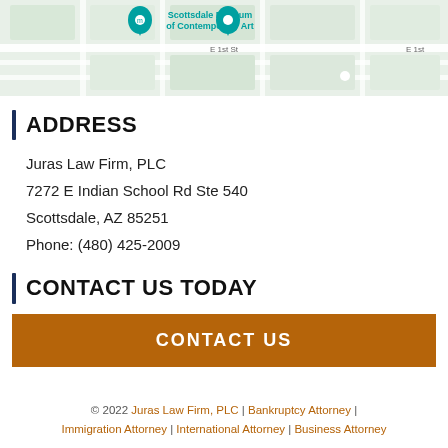[Figure (map): Google Maps screenshot showing Scottsdale Museum of Contemporary Art location with teal map pins and street labels including E 1st St]
ADDRESS
Juras Law Firm, PLC
7272 E Indian School Rd Ste 540
Scottsdale, AZ 85251
Phone: (480) 425-2009
CONTACT US TODAY
CONTACT US
© 2022 Juras Law Firm, PLC | Bankruptcy Attorney | Immigration Attorney | International Attorney | Business Attorney